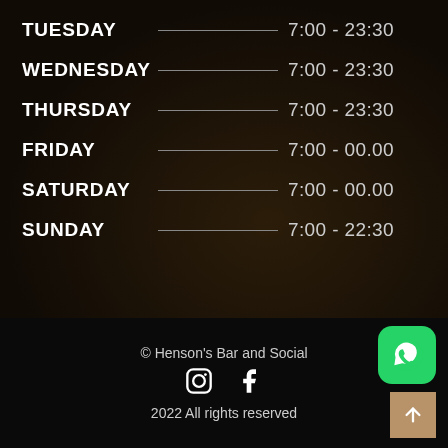TUESDAY   7:00 - 23:30
WEDNESDAY   7:00 - 23:30
THURSDAY   7:00 - 23:30
FRIDAY   7:00 - 00.00
SATURDAY   7:00 - 00.00
SUNDAY   7:00 - 22:30
© Henson's Bar and Social
2022 All rights reserved